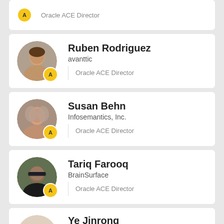[Figure (other): Partial profile card showing Oracle ACE Director badge and role text at top of page]
Ruben Rodriguez | avanttic | Oracle ACE Director
Susan Behn | Infosemantics, Inc. | Oracle ACE Director
Tariq Farooq | BrainSurface | Oracle ACE Director
Ye Jinrong | GreatDB Inc.